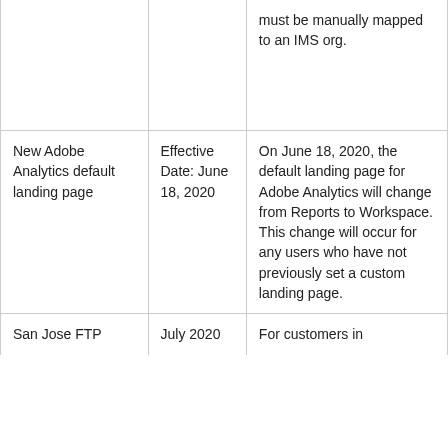|  |  | must be manually mapped to an IMS org. |
| New Adobe Analytics default landing page | Effective Date: June 18, 2020 | On June 18, 2020, the default landing page for Adobe Analytics will change from Reports to Workspace. This change will occur for any users who have not previously set a custom landing page. |
| San Jose FTP | July 2020 | For customers in |